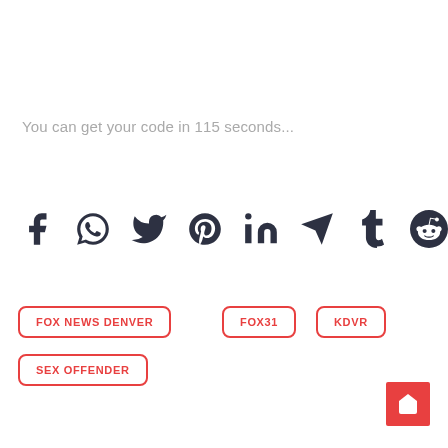You can get your code in 115 seconds...
[Figure (infographic): Row of social media share icons: Facebook, WhatsApp, Twitter, Pinterest, LinkedIn, Telegram, Tumblr, Reddit]
FOX NEWS DENVER
FOX31
KDVR
SEX OFFENDER
[Figure (illustration): Red home button icon in bottom right corner]